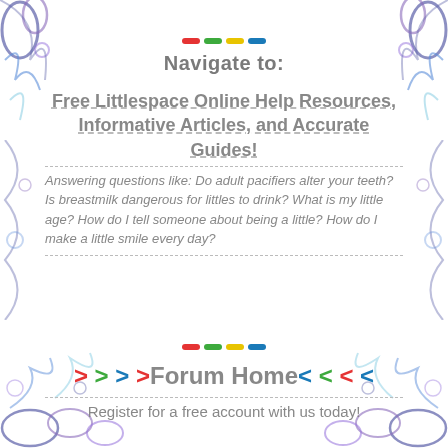[Figure (illustration): Decorative floral/swirl border elements in blue, purple, and teal around the page edges]
Navigate to:
Free Littlespace Online Help Resources, Informative Articles, and Accurate Guides!
Answering questions like: Do adult pacifiers alter your teeth? Is breastmilk dangerous for littles to drink? What is my little age? How do I tell someone about being a little? How do I make a little smile every day?
> > > >Forum Home< < < <
Register for a free account with us today!